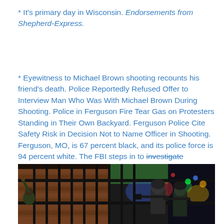* It's primary day in Wisconsin. Endorsements from Shepherd-Express.
* Eyewitness to Michael Brown shooting recounts his friend's death. Police Reportedly Refused Offer to Interview Man Who Was With Michael Brown During Shooting. Police in Ferguson Fire Tear Gas on Protesters Standing in Their Own Backyard. Ferguson Police Cite Safety Risk in Decision Not to Name Officer in Shooting. Ferguson, MO, is 67 percent black, and its police force is 94 percent white. The FBI steps in to investigate [strikethrough] ultimately sign off on everything's that happened. Dystopia as how-to manual.
[Figure (photo): Nighttime scene showing armed law enforcement officers in tactical gear and helmets behind a black metal fence or barrier, with colorful flashing police lights visible in the background (blue, red, green). A person with a raised hand is visible on the left side of the fence.]